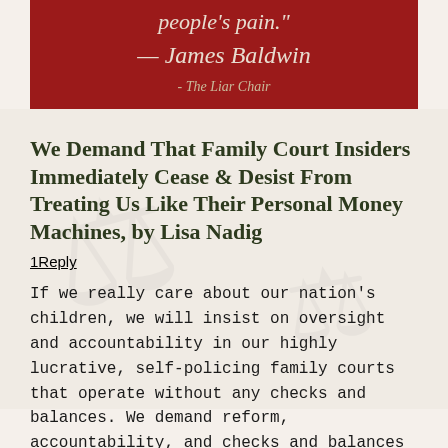[Figure (other): Red banner with quote text 'people's pain.' — James Baldwin and attribution '- The Liar Chair' on dark red background]
We Demand That Family Court Insiders Immediately Cease & Desist From Treating Us Like Their Personal Money Machines, by Lisa Nadig
1Reply
If we really care about our nation's children, we will insist on oversight and accountability in our highly lucrative, self-policing family courts that operate without any checks and balances.  We demand reform, accountability, and checks and balances in this system.